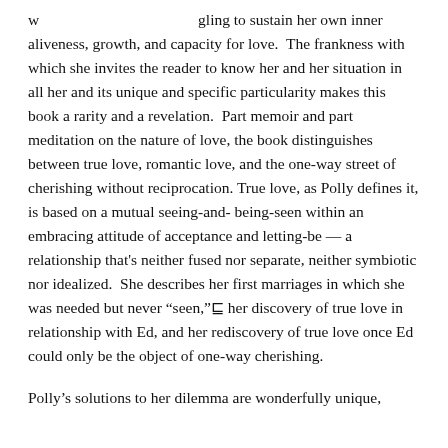w[partially obscured] gling to sustain her own inner aliveness, growth, and capacity for love.  The frankness with which she invites the reader to know her and her situation in all her and its unique and specific particularity makes this book a rarity and a revelation.  Part memoir and part meditation on the nature of love, the book distinguishes between true love, romantic love, and the one-way street of cherishing without reciprocation. True love, as Polly defines it, is based on a mutual seeing-and-being-seen within an embracing attitude of acceptance and letting-be — a relationship that's neither fused nor separate, neither symbiotic nor idealized.  She describes her first marriages in which she was needed but never "seen,"  her discovery of true love in relationship with Ed, and her rediscovery of true love once Ed could only be the object of one-way cherishing.
Polly's solutions to her dilemma are wonderfully unique, [text continues below visible area]